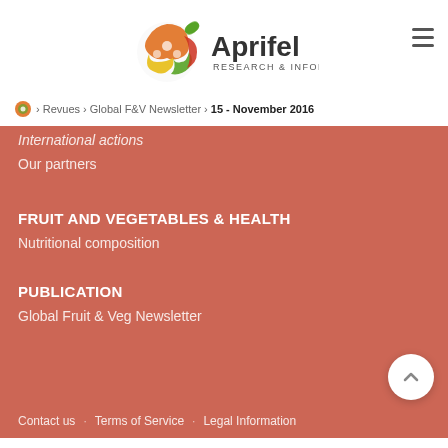[Figure (logo): Aprifel Research & Information logo - circular icon with fruit/vegetable shapes in green, orange, yellow, and red, with 'Aprifel' in dark gray and 'RESEARCH & INFORMATION' in dark gray below]
Revues > Global F&V Newsletter > 15 - November 2016
International actions
Our partners
FRUIT AND VEGETABLES & HEALTH
Nutritional composition
PUBLICATION
Global Fruit & Veg Newsletter
Contact us   Terms of Service   Legal Information